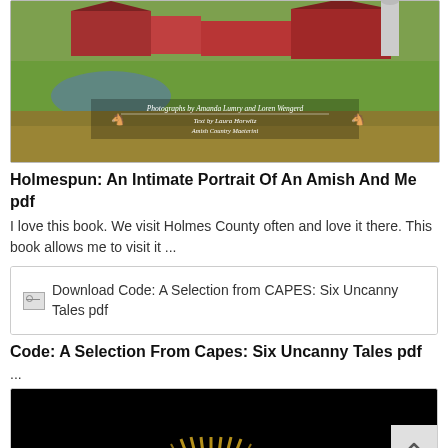[Figure (photo): Photograph of Amish farm with red barn, pond, and green fields. Text overlay: 'Photographs by Amanda Lumry and Loren Wengerd / Text by Laura Horwitz / [subtitle text]']
Holmespun: An Intimate Portrait Of An Amish And Me pdf
I love this book. We visit Holmes County often and love it there. This book allows me to visit it ...
[Figure (screenshot): Broken image icon followed by text: Download Code: A Selection from CAPES: Six Uncanny Tales pdf]
Code: A Selection From Capes: Six Uncanny Tales pdf
...
[Figure (photo): Dark/black image with golden sunburst or radial lines pattern at bottom, partially visible]